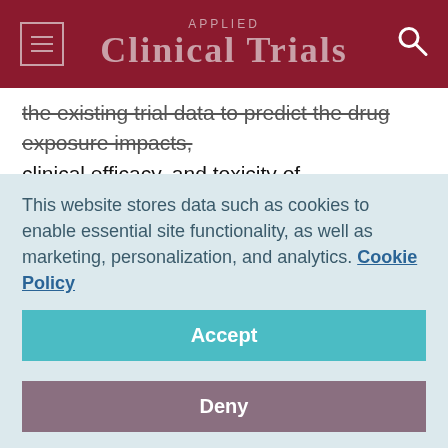Applied Clinical Trials
the existing trial data to predict the drug exposure impacts, clinical efficacy, and toxicity of investigational therapies in specific modeled patient sub-populations. For instance, such virtual patient cohorts may be structured by common variants such as age, gender, ethnicity, and weight, but also by more complex characteristics such as the presence or absence of specific genetic mutations or other biomarkers, specific comorbidities and coprescribed medications, organ impairment, and vulnerable patient groups (e.g., pediatric or
This website stores data such as cookies to enable essential site functionality, as well as marketing, personalization, and analytics. Cookie Policy
Accept
Deny